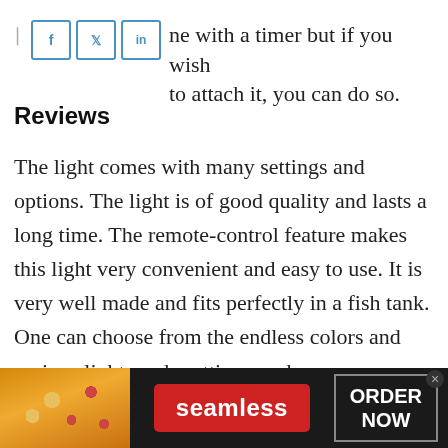ne with a timer but if you wish to attach it, you can do so.
Reviews
The light comes with many settings and options. The light is of good quality and lasts a long time. The remote-control feature makes this light very convenient and easy to use. It is very well made and fits perfectly in a fish tank. One can choose from the endless colors and various light mode settings such as a thunderstorm, to revamp any
[Figure (screenshot): Seamless food delivery advertisement banner with pizza image on left, red Seamless button in center, and ORDER NOW button on right]